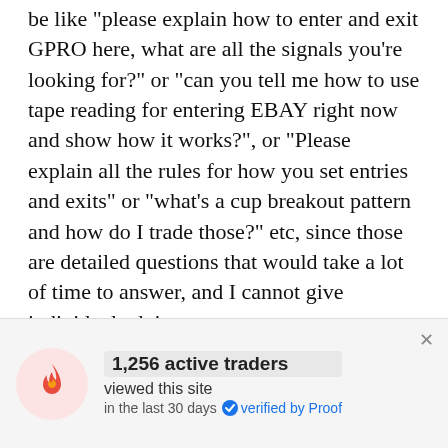be like "please explain how to enter and exit GPRO here, what are all the signals you're looking for?" or "can you tell me how to use tape reading for entering EBAY right now and show how it works?", or "Please explain all the rules for how you set entries and exits" or "what's a cup breakout pattern and how do I trade those?" etc, since those are detailed questions that would take a lot of time to answer, and I cannot give individual advice.
Q: Can I send you personal
[Figure (infographic): Notification widget showing 1,256 active traders viewed this site in the last 30 days, verified by Proof, with a flame icon on a pink circle background and a close button.]